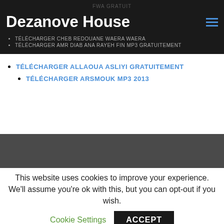FWA GRATUIT
Dezanove House
TÉLÉCHARGER CHEB REDOUANE WAERA WAERA
TÉLÉCHARGER AMR DIAB ANA RAYEH FIN MP3 GRATUITEMENT
TÉLÉCHARGER ALLAOUA ASLIYI GRATUITEMENT
TÉLÉCHARGER ARSMOUK MP3 2013
This website uses cookies to improve your experience. We'll assume you're ok with this, but you can opt-out if you wish.
Cookie Settings   ACCEPT